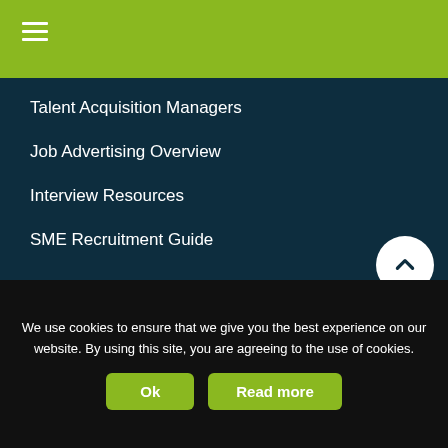[Figure (other): Green header bar with hamburger menu icon (three horizontal white lines)]
Talent Acquisition Managers
Job Advertising Overview
Interview Resources
SME Recruitment Guide
Hiring People
Home
Job Advertising
Branded Advertising
Flat Fee Recruitment
Blog
We use cookies to ensure that we give you the best experience on our website. By using this site, you are agreeing to the use of cookies.
Ok   Read more